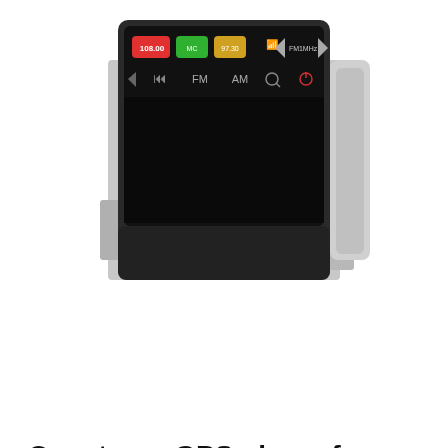[Figure (photo): Car stereo GPS player unit for Toyota Camry, showing touchscreen interface with FM/AM radio display, partially visible from top portion]
[Figure (photo): Thumbnail gallery row showing 4 product thumbnails: front view of stereo in bracket, dark angled view, white instruction card, parts/components view. Navigation arrows on left and right.]
Car stereo GPS player for Toyota camry 2012-2014 North America Version